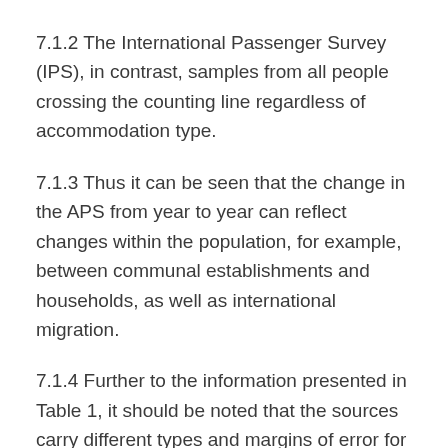7.1.2 The International Passenger Survey (IPS), in contrast, samples from all people crossing the counting line regardless of accommodation type.
7.1.3 Thus it can be seen that the change in the APS from year to year can reflect changes within the population, for example, between communal establishments and households, as well as international migration.
7.1.4 Further to the information presented in Table 1, it should be noted that the sources carry different types and margins of error for the statistics derived from them and these can have a significant impact on